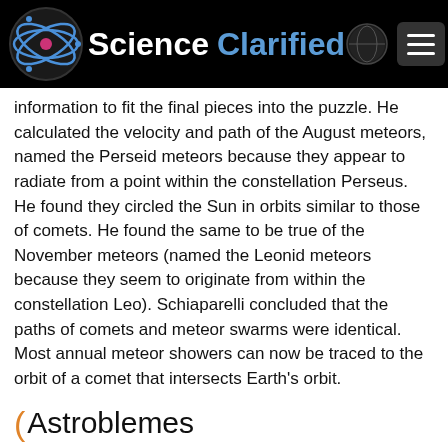Science Clarified
information to fit the final pieces into the puzzle. He calculated the velocity and path of the August meteors, named the Perseid meteors because they appear to radiate from a point within the constellation Perseus. He found they circled the Sun in orbits similar to those of comets. He found the same to be true of the November meteors (named the Leonid meteors because they seem to originate from within the constellation Leo). Schiaparelli concluded that the paths of comets and meteor swarms were identical. Most annual meteor showers can now be traced to the orbit of a comet that intersects Earth's orbit.
Astroblemes
Astroblemes are large, circular craters left on Earth's surface by the impact of large objects from outer space. Such objects are usually meteorites, but some may have been comet heads or asteroids. Few of these impacts are obvious today...